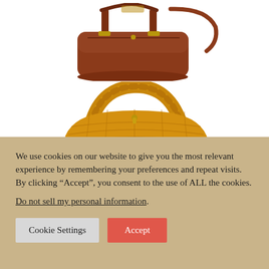[Figure (photo): Brown leather handbag with double handles and a shoulder strap on white background]
[Figure (photo): Yellow/mustard woven leather hobo bag with braided handle on white background]
We use cookies on our website to give you the most relevant experience by remembering your preferences and repeat visits. By clicking “Accept”, you consent to the use of ALL the cookies.
Do not sell my personal information.
Cookie Settings
Accept